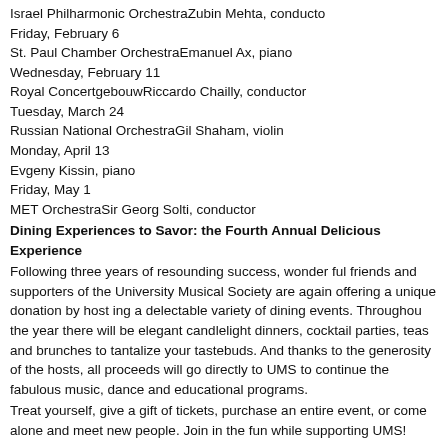Israel Philharmonic OrchestraZubin Mehta, conductor
Friday, February 6
St. Paul Chamber OrchestraEmanuel Ax, piano
Wednesday, February 11
Royal ConcertgebouwRiccardo Chailly, conductor
Tuesday, March 24
Russian National OrchestraGil Shaham, violin
Monday, April 13
Evgeny Kissin, piano
Friday, May 1
MET OrchestraSir Georg Solti, conductor
Dining Experiences to Savor: the Fourth Annual Delicious Experience
Following three years of resounding success, wonderful friends and supporters of the University Musical Society are again offering a unique donation by hosting a delectable variety of dining events. Throughou the year there will be elegant candlelight dinners, cocktail parties, teas and brunches to tantalize your tastebuds. And thanks to the generosity of the hosts, all proceeds will go directly to UMS to continue the fabulous music, dance and educational programs.
Treat yourself, give a gift of tickets, purchase an entire event, or come alone and meet new people. Join in the fun while supporting UMS!